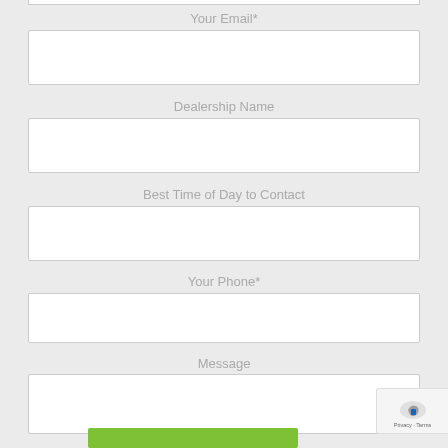Your Email*
[Figure (screenshot): Empty text input field for email]
Dealership Name
[Figure (screenshot): Empty text input field for dealership name]
Best Time of Day to Contact
[Figure (screenshot): Empty text input field for best time of day to contact]
Your Phone*
[Figure (screenshot): Empty text input field for phone number]
Message
[Figure (screenshot): Empty textarea for message]
[Figure (screenshot): Green submit button at bottom]
[Figure (screenshot): reCAPTCHA badge showing Privacy - Terms]